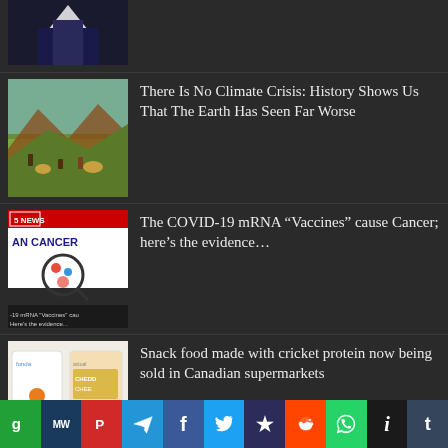[Figure (photo): Partial image of a person in dark clothing, top of page, cropped]
There Is No Climate Crisis: History Shows Us That The Earth Has Seen Far Worse
[Figure (photo): Historical painting showing a landscape with figures and animals]
The COVID-19 mRNA “Vaccines” cause Cancer; here’s the evidence…
[Figure (photo): News image about cancer with a magnifying glass over colorful pills and text reading AN CANCER and news banner]
Snack food made with cricket protein now being sold in Canadian supermarkets
[Figure (photo): Image of snack food packaging with cricket protein products]
g | MW | P | Telegram | f | Twitter | * | Reddit | WhatsApp | i | t